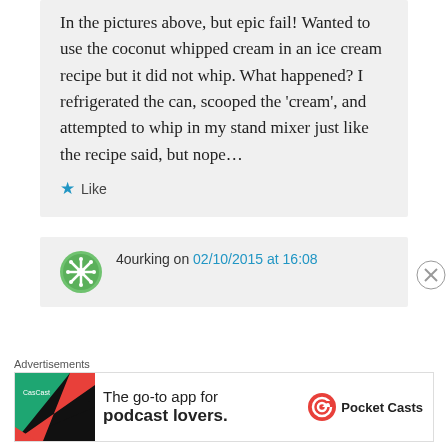In the pictures above, but epic fail! Wanted to use the coconut whipped cream in an ice cream recipe but it did not whip. What happened? I refrigerated the can, scooped the 'cream', and attempted to whip in my stand mixer just like the recipe said, but nope…
★ Like
4ourking on 02/10/2015 at 16:08
Advertisements
[Figure (infographic): Pocket Casts advertisement banner: The go-to app for podcast lovers.]